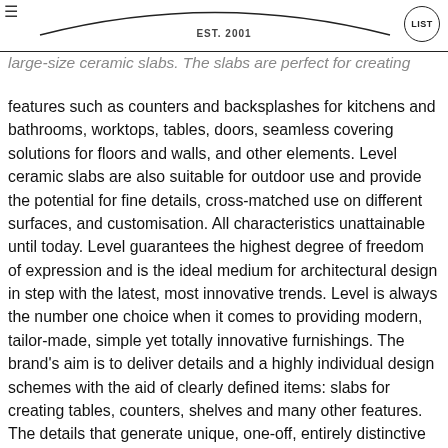EST. 2001 | LIST
large-size ceramic slabs. The slabs are perfect for creating features such as counters and backsplashes for kitchens and bathrooms, worktops, tables, doors, seamless covering solutions for floors and walls, and other elements. Level ceramic slabs are also suitable for outdoor use and provide the potential for fine details, cross-matched use on different surfaces, and customisation. All characteristics unattainable until today. Level guarantees the highest degree of freedom of expression and is the ideal medium for architectural design in step with the latest, most innovative trends. Level is always the number one choice when it comes to providing modern, tailor-made, simple yet totally innovative furnishings. The brand's aim is to deliver details and a highly individual design schemes with the aid of clearly defined items: slabs for creating tables, counters, shelves and many other features. The details that generate unique, one-off, entirely distinctive design.